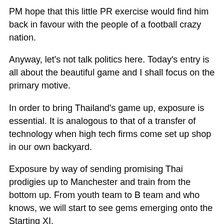PM hope that this little PR exercise would find him back in favour with the people of a football crazy nation.
Anyway, let's not talk politics here. Today's entry is all about the beautiful game and I shall focus on the primary motive.
In order to bring Thailand's game up, exposure is essential. It is analogous to that of a transfer of technology when high tech firms come set up shop in our own backyard.
Exposure by way of sending promising Thai prodigies up to Manchester and train from the bottom up. From youth team to B team and who knows, we will start to see gems emerging onto the Starting XI.
10 years ago, an Asian face on the pitch of EPL was unthinkable. Yes, granted we have our own Fandi Ahmad playing in FC Gronigen but seriously (a) it was a fluke and (b) he didn't make a very big impact, did he?
Today, Asian names are all over Europe with names like Nakamura, Nakata, Inamoto, Sun JunHai, Dong FangZuo,